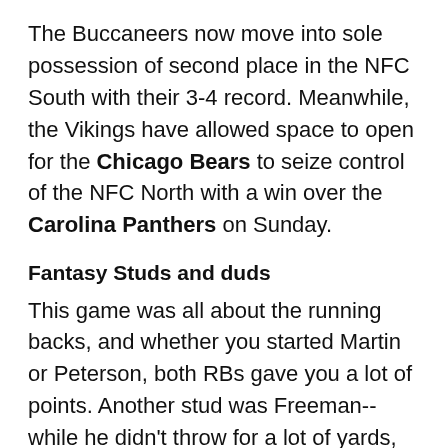The Buccaneers now move into sole possession of second place in the NFC South with their 3-4 record. Meanwhile, the Vikings have allowed space to open for the Chicago Bears to seize control of the NFC North with a win over the Carolina Panthers on Sunday.
Fantasy Studs and duds
This game was all about the running backs, and whether you started Martin or Peterson, both RBs gave you a lot of points. Another stud was Freeman-- while he didn't throw for a lot of yards, he did finish with three touchdowns.
Vincent Jackson was a disappointment on Thursday. Despite coming off a 216-yard game against the New Orleans Saints, he managed just two receptions for 40 yards in Minnesota.